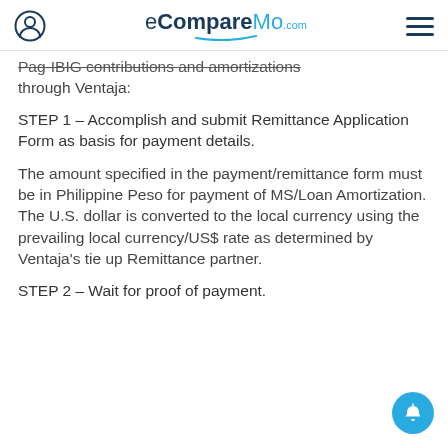eCompareMo.com
Pag-IBIG contributions and amortizations through Ventaja:
STEP 1 – Accomplish and submit Remittance Application Form as basis for payment details.
The amount specified in the payment/remittance form must be in Philippine Peso for payment of MS/Loan Amortization. The U.S. dollar is converted to the local currency using the prevailing local currency/US$ rate as determined by Ventaja's tie up Remittance partner.
STEP 2 – Wait for proof of payment.